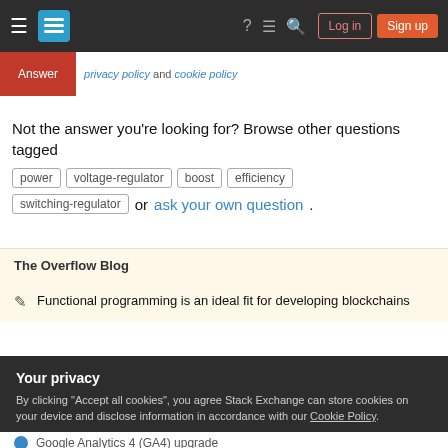Stack Exchange navigation bar with Log in and Sign up buttons
Answer  privacy policy and cookie policy
Not the answer you're looking for? Browse other questions tagged power voltage-regulator boost efficiency switching-regulator or ask your own question.
The Overflow Blog
Functional programming is an ideal fit for developing blockchains
Your privacy
By clicking "Accept all cookies", you agree Stack Exchange can store cookies on your device and disclose information in accordance with our Cookie Policy.
Accept all cookies   Customize settings
Google Analytics 4 (GA4) upgrade